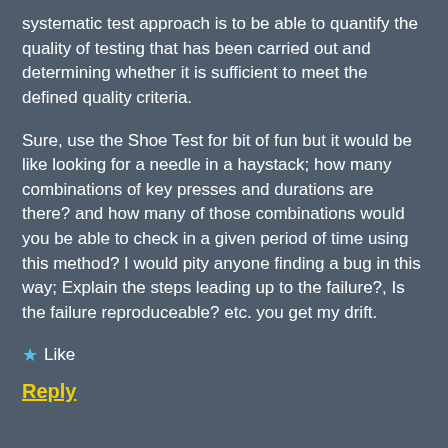systematic test approach is to be able to quantify the quality of testing that has been carried out and determining whether it is sufficient to meet the defined quality criteria.
Sure, use the Shoe Test for bit of fun but it would be like looking for a needle in a haystack; how many combinations of key presses and durations are there? and how many of those combinations would you be able to check in a given period of time using this method? I would pity anyone finding a bug in this way; Explain the steps leading up to the failure?, Is the failure reproduceable? etc. you get my drift.
Like
Reply